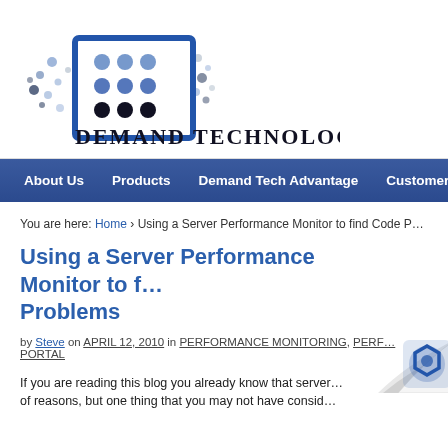[Figure (logo): Demand Technology Software logo with blue grid/dots icon and company name]
About Us | Products | Demand Tech Advantage | Customers
You are here: Home › Using a Server Performance Monitor to find Code Problems
Using a Server Performance Monitor to find Code Problems
by Steve on APRIL 12, 2010 in PERFORMANCE MONITORING, PERF... PORTAL
If you are reading this blog you already know that server ... of reasons, but one thing that you may not have consid...